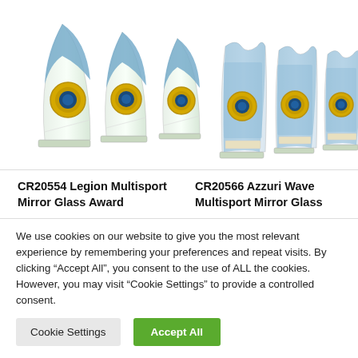[Figure (photo): Six glass trophies/awards displayed in two groups: left group has three sail-shaped mirror glass awards (Legion Multisport, graduated sizes), right group has three rectangular wave-shaped mirror glass awards (Azzuri Wave Multisport), each with blue and gold medallion center.]
CR20554 Legion Multisport Mirror Glass Award
CR20566 Azzuri Wave Multisport Mirror Glass
We use cookies on our website to give you the most relevant experience by remembering your preferences and repeat visits. By clicking "Accept All", you consent to the use of ALL the cookies. However, you may visit "Cookie Settings" to provide a controlled consent.
Cookie Settings
Accept All